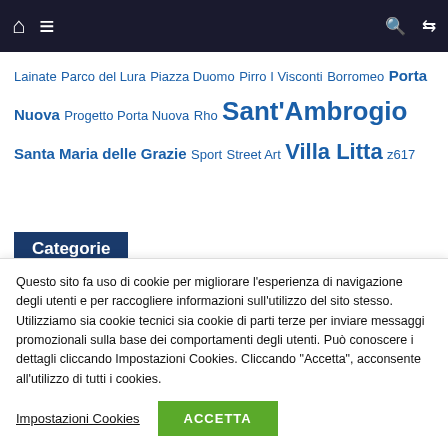Navigation bar with home, menu, search, shuffle icons
Lainate Parco del Lura Piazza Duomo Pirro I Visconti Borromeo Porta Nuova Progetto Porta Nuova Rho Sant'Ambrogio Santa Maria delle Grazie Sport Street Art Villa Litta z617
Categorie
Questo sito fa uso di cookie per migliorare l'esperienza di navigazione degli utenti e per raccogliere informazioni sull'utilizzo del sito stesso. Utilizziamo sia cookie tecnici sia cookie di parti terze per inviare messaggi promozionali sulla base dei comportamenti degli utenti. Può conoscere i dettagli cliccando Impostazioni Cookies. Cliccando "Accetta", acconsente all'utilizzo di tutti i cookies.
Impostazioni Cookies | ACCETTA